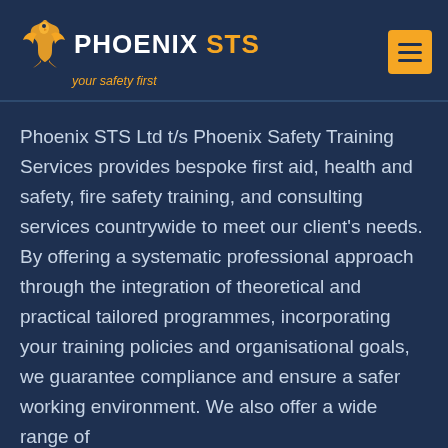[Figure (logo): Phoenix STS logo with orange phoenix bird icon, white bold text 'PHOENIX STS' and orange italic tagline 'your safety first']
Phoenix STS Ltd t/s Phoenix Safety Training Services provides bespoke first aid, health and safety, fire safety training, and consulting services countrywide to meet our client's needs. By offering a systematic professional approach through the integration of theoretical and practical tailored programmes, incorporating your training policies and organisational goals, we guarantee compliance and ensure a safer working environment. We also offer a wide range of